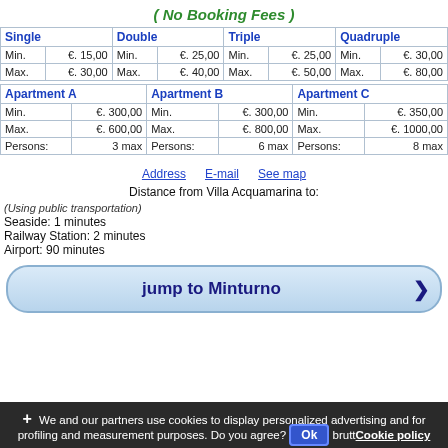( No Booking Fees )
| Single |  | Double |  | Triple |  | Quadruple |  |
| --- | --- | --- | --- | --- | --- | --- | --- |
| Min. | €. 15,00 | Min. | €. 25,00 | Min. | €. 25,00 | Min. | €. 30,00 |
| Max. | €. 30,00 | Max. | €. 40,00 | Max. | €. 50,00 | Max. | €. 80,00 |
| Apartment A |  | Apartment B |  | Apartment C |  |
| --- | --- | --- | --- | --- | --- |
| Min. | €. 300,00 | Min. | €. 300,00 | Min. | €. 350,00 |
| Max. | €. 600,00 | Max. | €. 800,00 | Max. | €. 1000,00 |
| Persons: | 3 max | Persons: | 6 max | Persons: | 8 max |
Address   E-mail   See map
Distance from Villa Acquamarina to:
(Using public transportation)
Seaside: 1 minutes
Railway Station: 2 minutes
Airport: 90 minutes
jump to Minturno
We and our partners use cookies to display personalized advertising and for profiling and measurement purposes. Do you agree?
Ok
Cookie policy